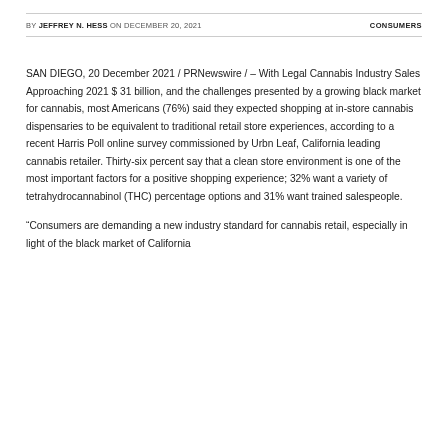BY JEFFREY N. HESS ON DECEMBER 20, 2021    CONSUMERS
SAN DIEGO, 20 December 2021 / PRNewswire / – With Legal Cannabis Industry Sales Approaching 2021 $ 31 billion, and the challenges presented by a growing black market for cannabis, most Americans (76%) said they expected shopping at in-store cannabis dispensaries to be equivalent to traditional retail store experiences, according to a recent Harris Poll online survey commissioned by Urbn Leaf, California leading cannabis retailer. Thirty-six percent say that a clean store environment is one of the most important factors for a positive shopping experience; 32% want a variety of tetrahydrocannabinol (THC) percentage options and 31% want trained salespeople.
“Consumers are demanding a new industry standard for cannabis retail, especially in light of the black market of California